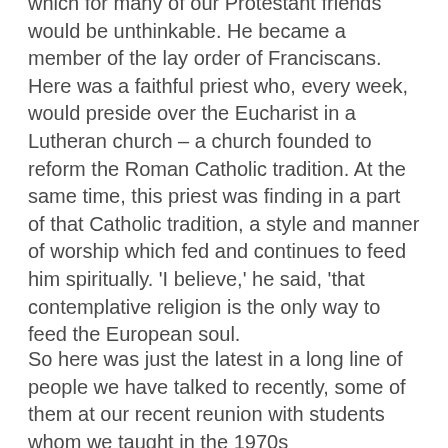which for many of our Protestant friends would be unthinkable. He became a member of the lay order of Franciscans. Here was a faithful priest who, every week, would preside over the Eucharist in a Lutheran church – a church founded to reform the Roman Catholic tradition. At the same time, this priest was finding in a part of that Catholic tradition, a style and manner of worship which fed and continues to feed him spiritually. 'I believe,' he said, 'that contemplative religion is the only way to feed the European soul.
So here was just the latest in a long line of people we have talked to recently, some of them at our recent reunion with students whom we taught in the 1970s...